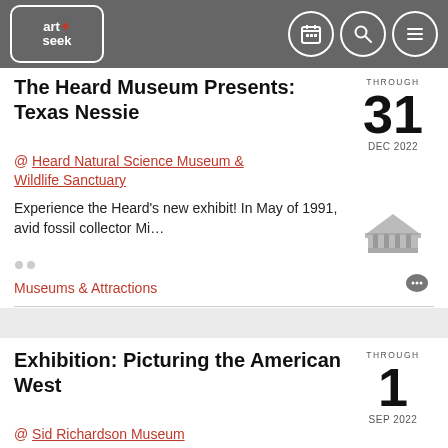art*seek (logo/navigation bar)
The Heard Museum Presents: Texas Nessie
@ Heard Natural Science Museum & Wildlife Sanctuary
Experience the Heard's new exhibit! In May of 1991, avid fossil collector Mi...
THROUGH 31 DEC 2022
Museums & Attractions
Exhibition: Picturing the American West
@ Sid Richardson Museum
This thematic installation is an invitation
THROUGH 1 SEP 2022